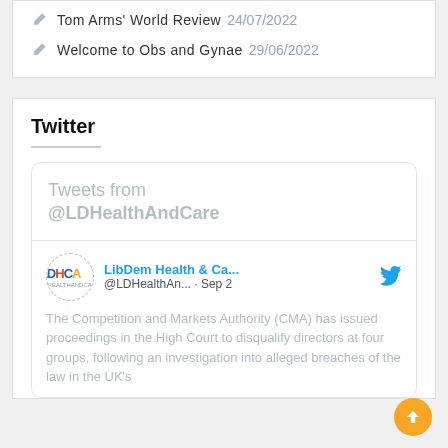Tom Arms' World Review 24/07/2022
Welcome to Obs and Gynae 29/06/2022
Twitter
[Figure (screenshot): Embedded Twitter widget showing tweets from @LDHealthAndCare. Header reads 'Tweets from @LDHealthAndCare'. Below is a tweet from LibDem Health & Ca... (@LDHealthAn...) dated Sep 2, with text: 'The Competition and Markets Authority (CMA) has issued proceedings in the High Court to disqualify directors at four groups, following an investigation into alleged breaches of the law in the UK's']